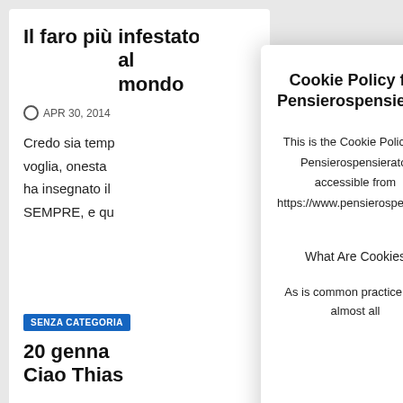Il faro più infestato al mondo
APR 30, 2014
Credo sia temp voglia, onesta ha insegnato il SEMPRE, e qu
SENZA CATEGORIA
20 genna Ciao Thias
Cookie Policy for Pensierospensierato
This is the Cookie Policy for Pensierospensierato, accessible from https://www.pensierospensierato.net/
What Are Cookies
As is common practice with almost all